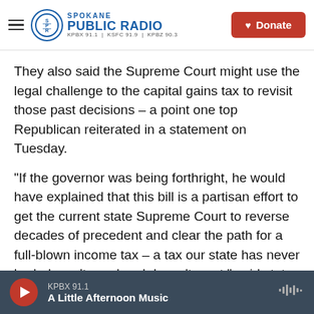Spokane Public Radio — KPBX 91.1 | KSFC 91.9 | KPBZ 90.3 — Donate
They also said the Supreme Court might use the legal challenge to the capital gains tax to revisit those past decisions – a point one top Republican reiterated in a statement on Tuesday.
"If the governor was being forthright, he would have explained that this bill is a partisan effort to get the current state Supreme Court to reverse decades of precedent and clear the path for a full-blown income tax – a tax our state has never had, doesn't need and doesn't want," said state Sen. Lynda Wilson, the ranking Republican on the Ways and
KPBX 91.1 — A Little Afternoon Music